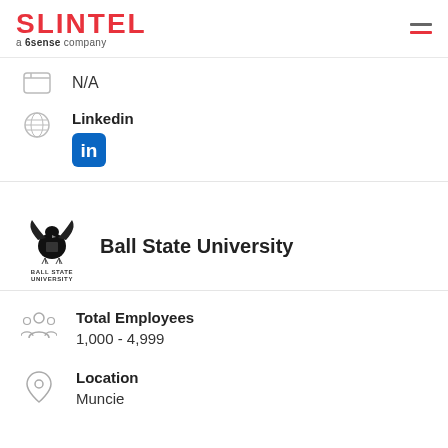[Figure (logo): SLINTEL logo with tagline 'a 6sense company']
N/A
Linkedin
[Figure (logo): LinkedIn 'in' icon button]
[Figure (logo): Ball State University logo with eagle emblem and text BALL STATE UNIVERSITY]
Ball State University
Total Employees
1,000 - 4,999
Location
Muncie